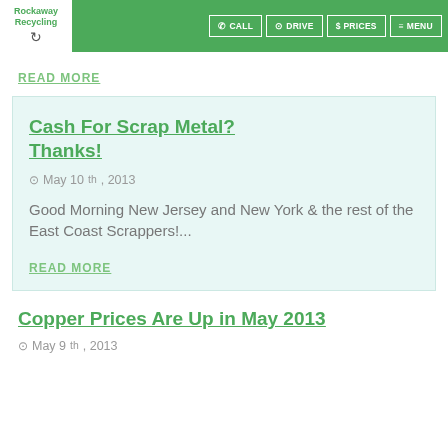Rockaway Recycling | CALL | DRIVE | PRICES | MENU
READ MORE
Cash For Scrap Metal? Thanks!
May 10th, 2013
Good Morning New Jersey and New York & the rest of the East Coast Scrappers!...
READ MORE
Copper Prices Are Up in May 2013
May 9th, 2013